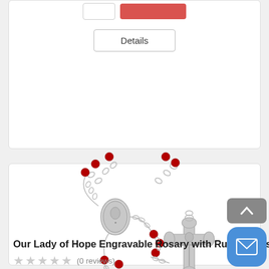[Figure (screenshot): Top portion of a product listing card showing quantity input box, red Add to Cart button (partially visible), and a Details button below them.]
[Figure (photo): Photo of 'Our Lady of Hope Engravable Rosary with Ruby Beads' — silver rosary with red ruby-colored faceted beads, oval medal centerpiece, and ornate silver crucifix.]
Our Lady of Hope Engravable Rosary with Ruby Beads
(0 reviews)
SKU:  69349